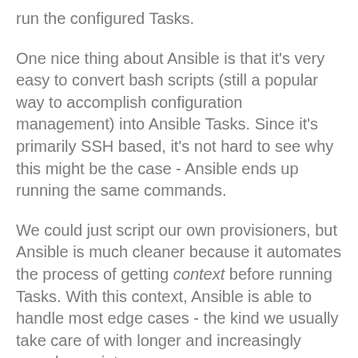run the configured Tasks.
One nice thing about Ansible is that it's very easy to convert bash scripts (still a popular way to accomplish configuration management) into Ansible Tasks. Since it's primarily SSH based, it's not hard to see why this might be the case - Ansible ends up running the same commands.
We could just script our own provisioners, but Ansible is much cleaner because it automates the process of getting context before running Tasks. With this context, Ansible is able to handle most edge cases - the kind we usually take care of with longer and increasingly complex scripts.
Ansible Tasks are idempotent. Without a lot of extra coding, bash scripts are usually not safety run again